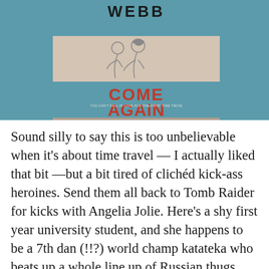[Figure (photo): Book cover of 'Come Again' by Webb. Teal/blue background with a line drawing of two figures sitting together on the top portion. The title 'COME AGAIN' is in large red letters, with a subtitle 'YOU CAN'T FALL IN LOVE FOR THE FIRST TIME TWICE' in small text below.]
Sound silly to say this is too unbelievable when it's about time travel — I actually liked that bit —but a bit tired of clichéd kick-ass heroines. Send them all back to Tomb Raider for kicks with Angelia Jolie. Here's a shy first year university student, and she happens to be a 7th dan (!!?) world champ katateka who beats up a whole line up of Russian thugs. Even though she hasn't trained for a while 'cos she's busy. Karate is a life. Seventh dans are old and